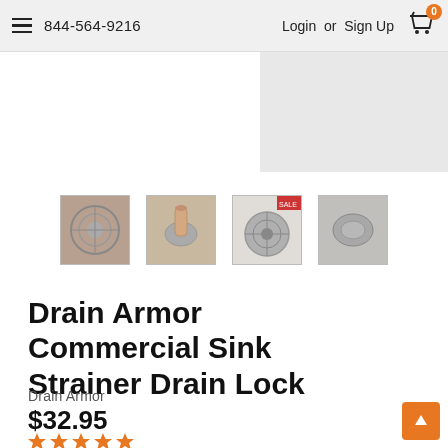844-564-9216  Login or Sign Up
[Figure (photo): Gray product image area (top right)]
[Figure (photo): Four product thumbnail images of drain strainer: installed drain, hand inserting strainer, close-up of gray strainer top, stainless steel drain]
Drain Armor Commercial Sink Strainer Drain Lock
Drain Armor
$32.95
[Figure (other): Five orange star rating icons]